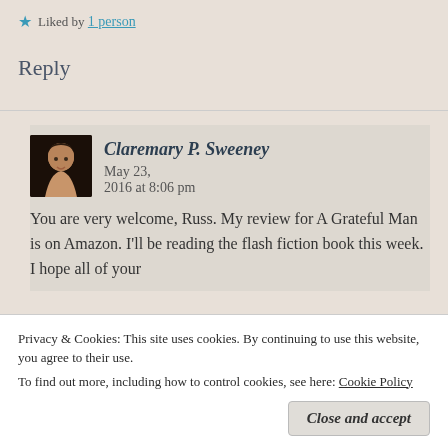★ Liked by 1 person
Reply
Claremary P. Sweeney   May 23, 2016 at 8:06 pm
You are very welcome, Russ. My review for A Grateful Man is on Amazon. I'll be reading the flash fiction book this week. I hope all of your
Privacy & Cookies: This site uses cookies. By continuing to use this website, you agree to their use.
To find out more, including how to control cookies, see here: Cookie Policy
Close and accept